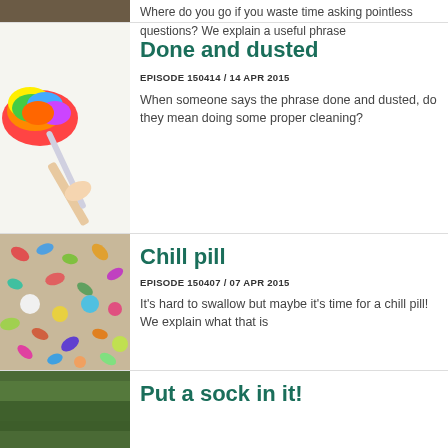[Figure (photo): Partial image at top, cropped]
Where do you go if you waste time asking pointless questions? We explain a useful phrase
[Figure (photo): Hand holding a rainbow coloured feather duster]
Done and dusted
EPISODE 150414 / 14 APR 2015
When someone says the phrase done and dusted, do they mean doing some proper cleaning?
[Figure (photo): Pile of colourful mixed pills and tablets]
Chill pill
EPISODE 150407 / 07 APR 2015
It's hard to swallow but maybe it's time for a chill pill! We explain what that is
[Figure (photo): Partial image at bottom, cropped]
Put a sock in it!